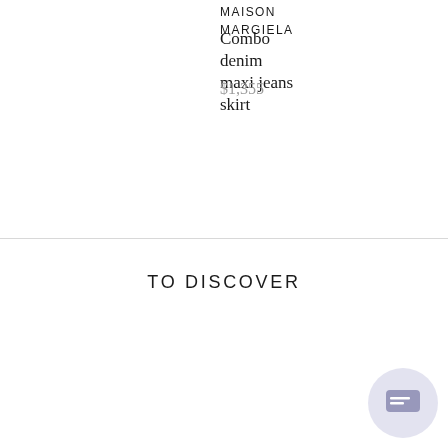MAISON MARGIELA
Combo denim maxi jeans skirt
$1,355
PATOU
Organic cot
$510
TO DISCOVER
[Figure (other): Chat support button icon in bottom right corner]